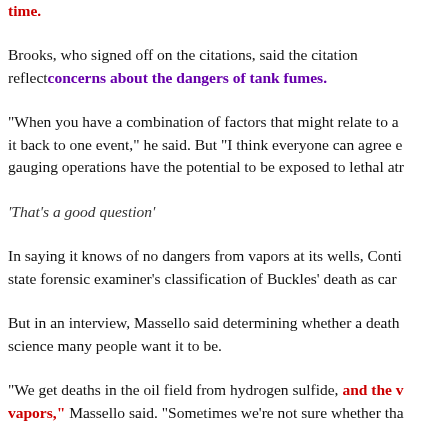time.
Brooks, who signed off on the citations, said the citation reflected concerns about the dangers of tank fumes.
“When you have a combination of factors that might relate to a it back to one event,” he said. But “I think everyone can agree e gauging operations have the potential to be exposed to lethal atr
‘That’s a good question’
In saying it knows of no dangers from vapors at its wells, Conti state forensic examiner’s classification of Buckles’ death as car
But in an interview, Massello said determining whether a death science many people want it to be.
“We get deaths in the oil field from hydrogen sulfide, and the v vapors,” Massello said. “Sometimes we’re not sure whether tha